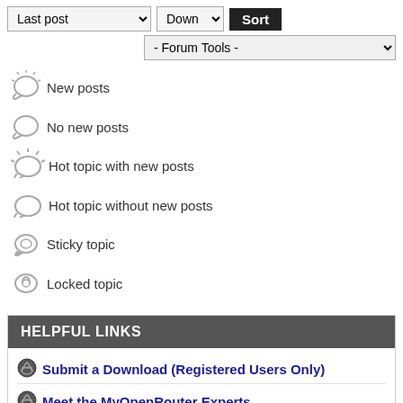[Figure (screenshot): Forum sort toolbar with Last post dropdown, Down dropdown, and Sort button]
[Figure (screenshot): Forum Tools dropdown selector]
New posts
No new posts
Hot topic with new posts
Hot topic without new posts
Sticky topic
Locked topic
HELPFUL LINKS
Submit a Download (Registered Users Only)
Meet the MyOpenRouter Experts
How to Flash DD-WRT on Your NETGEAR Router